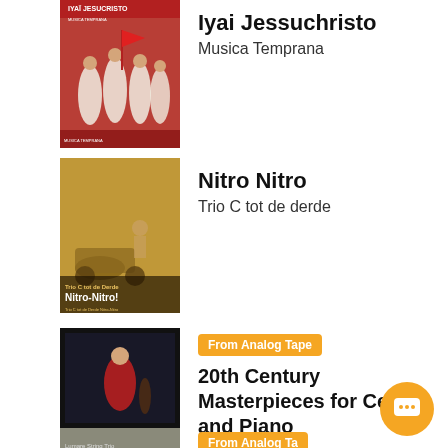[Figure (photo): Album cover for Iyai Jesucristo by Musica Temprana, showing people in white robes with a red flag]
Iyai Jessuchristo
Musica Temprana
[Figure (photo): Album cover for Nitro Nitro by Trio C tot de Derde, sepia-toned image with text overlay]
Nitro Nitro
Trio C tot de derde
[Figure (photo): Album cover for 20th Century Masterpieces for Cello and Piano by Drinkall-Baker Duo, dark background with performers]
From Analog Tape
20th Century Masterpieces for Cello and Piano
Drinkall-Baker Duo
[Figure (photo): Partial album cover at bottom of page, partially visible]
From Analog Tape